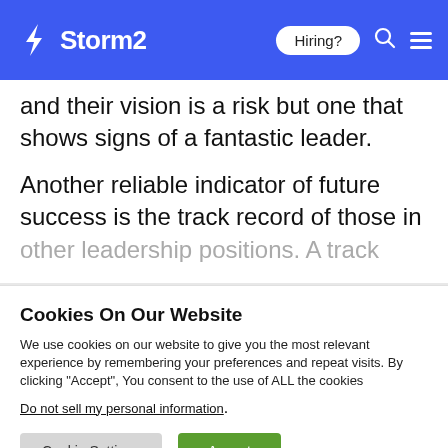Storm2 | Hiring?
and their vision is a risk but one that shows signs of a fantastic leader.

Another reliable indicator of future success is the track record of those in other leadership positions. A track record
Cookies On Our Website
We use cookies on our website to give you the most relevant experience by remembering your preferences and repeat visits. By clicking “Accept”, You consent to the use of ALL the cookies
Do not sell my personal information.